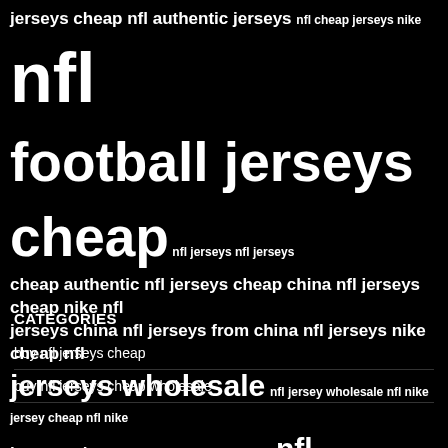[Figure (infographic): Word cloud on black background featuring NFL jersey-related search terms in varying font sizes. Largest terms: 'nfl', 'football jerseys cheap', 'where to buy cheap nfl jerseys', 'wholesale', 'nhl cheap jerseys'. Smaller terms include: 'jerseys cheap', 'nfl authentic jerseys', 'nfl cheap jerseys nike', 'nfl jerseys', 'cheap authentic nfl jerseys cheap china', 'nfl jerseys cheap nike nfl jerseys china', 'nfl jerseys from china', 'nfl jerseys nike cheap nfl jerseys wholesale', 'nfl jersey wholesale', 'nfl nike jersey cheap nfl nike jerseys cheap', 'nfl nike jerseys for cheap', 'nfl wholesale jerseys', 'nike jerseys nfl cheap', 'nike nfl jerseys cheap official nfl jerseys cheap', 'wholesale mlb jerseys', 'wholesale ncaa jerseys', 'wholesale nhl cheap jerseys']
CATEGORIES
buy nfl jerseys cheap
buy nfl jerseys cheap wholesale